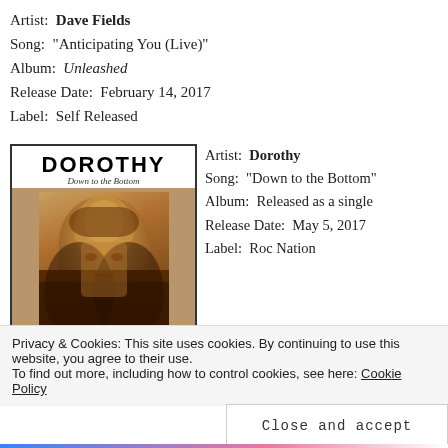Artist: Dave Fields
Song: "Anticipating You (Live)"
Album: Unleashed
Release Date: February 14, 2017
Label: Self Released
[Figure (photo): Album art for Dorothy 'Down to the Bottom' showing artist name DOROTHY in bold text with subtitle 'Down to the Bottom' and a sepia-toned photo of a woman with long dark hair]
Artist: Dorothy
Song: "Down to the Bottom"
Album: Released as a single
Release Date: May 5, 2017
Label: Roc Nation
Privacy & Cookies: This site uses cookies. By continuing to use this website, you agree to their use.
To find out more, including how to control cookies, see here: Cookie Policy
Close and accept